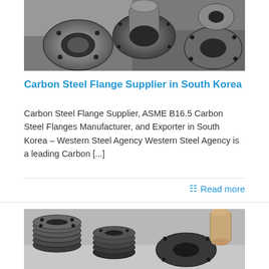[Figure (photo): Close-up photo of multiple carbon steel flanges with bolt holes, some threaded stubs, metallic finish, stacked and arranged on white background.]
Carbon Steel Flange Supplier in South Korea
Carbon Steel Flange Supplier, ASME B16.5 Carbon Steel Flanges Manufacturer, and Exporter in South Korea – Western Steel Agency Western Steel Agency is a leading Carbon [...]
Read more
[Figure (photo): Photo of stacked carbon steel flanges of various sizes on a concrete surface, showing dark metallic finish and bolt holes.]